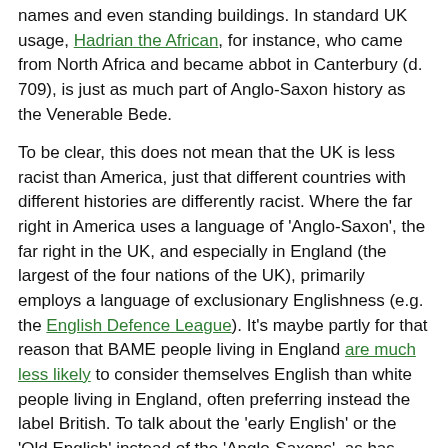names and even standing buildings. In standard UK usage, Hadrian the African, for instance, who came from North Africa and became abbot in Canterbury (d. 709), is just as much part of Anglo-Saxon history as the Venerable Bede.
To be clear, this does not mean that the UK is less racist than America, just that different countries with different histories are differently racist. Where the far right in America uses a language of 'Anglo-Saxon', the far right in the UK, and especially in England (the largest of the four nations of the UK), primarily employs a language of exclusionary Englishness (e.g. the English Defence League). It's maybe partly for that reason that BAME people living in England are much less likely to consider themselves English than white people living in England, often preferring instead the label British. To talk about the 'early English' or the 'Old English' instead of the 'Anglo-Saxons', as has been mooted, might help combat racism in the US, but might inadvertently feed it in England.